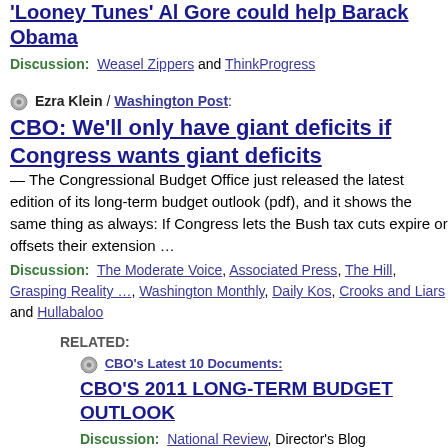'Looney Tunes' Al Gore could help Barack Obama
Discussion: Weasel Zippers and ThinkProgress
Ezra Klein / Washington Post:
CBO: We'll only have giant deficits if Congress wants giant deficits
— The Congressional Budget Office just released the latest edition of its long-term budget outlook (pdf), and it shows the same thing as always: If Congress lets the Bush tax cuts expire or offsets their extension …
Discussion: The Moderate Voice, Associated Press, The Hill, Grasping Reality …, Washington Monthly, Daily Kos, Crooks and Liars and Hullabaloo
RELATED:
CBO's Latest 10 Documents:
CBO'S 2011 LONG-TERM BUDGET OUTLOOK
Discussion: National Review, Director's Blog